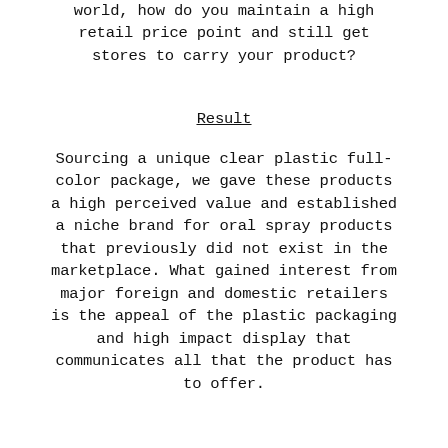world, how do you maintain a high retail price point and still get stores to carry your product?
Result
Sourcing a unique clear plastic full-color package, we gave these products a high perceived value and established a niche brand for oral spray products that previously did not exist in the marketplace. What gained interest from major foreign and domestic retailers is the appeal of the plastic packaging and high impact display that communicates all that the product has to offer.